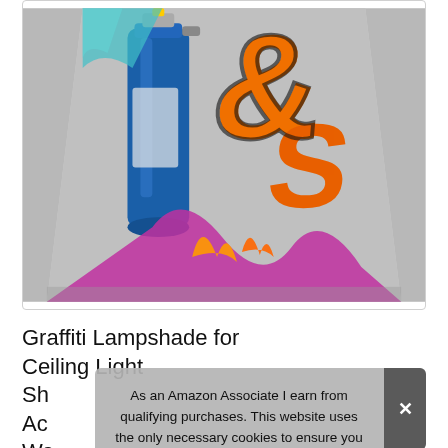[Figure (photo): A lampshade decorated with graffiti art, featuring a blue spray paint can, orange graffiti lettering, and pink/purple graffiti elements on a gray background.]
Graffiti Lampshade for Ceiling Light Sh Ac Wa
As an Amazon Associate I earn from qualifying purchases. This website uses the only necessary cookies to ensure you get the best experience on our website. More information